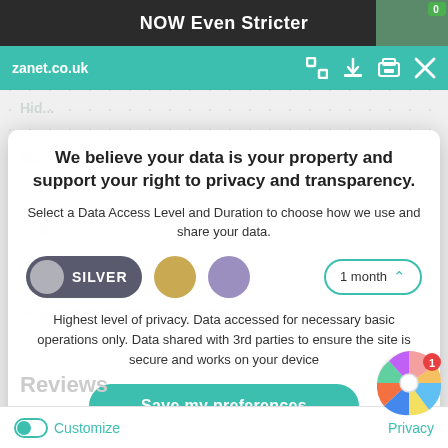NOW Even Stricter
[Figure (screenshot): Browser toolbar with zanet.co.uk URL and teal background with icons for expand, download, print, and close]
We believe your data is your property and support your right to privacy and transparency.
Select a Data Access Level and Duration to choose how we use and share your data.
[Figure (infographic): SILVER toggle selected (dark grey pill with grey circle), gold dot, purple dot, and 1 month dropdown selector with teal border]
Highest level of privacy. Data accessed for necessary basic operations only. Data shared with 3rd parties to ensure the site is secure and works on your device
[Figure (infographic): Save my preferences button - large teal rounded rectangle button]
Reviews
Customize   Privacy